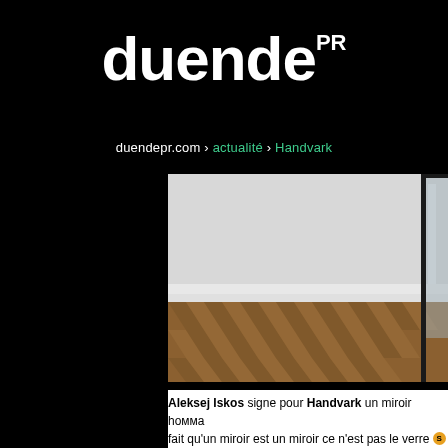duende PR
duendepr.com › actualité › Handvark
[Figure (photo): Interior room photo showing a parquet herringbone wood floor and a gray wall with a tall black-framed mirror leaning against it]
Aleksej Iskos signe pour Handvark un miroir homma… fait qu'un miroir est un miroir ce n'est pas le verre ou le…